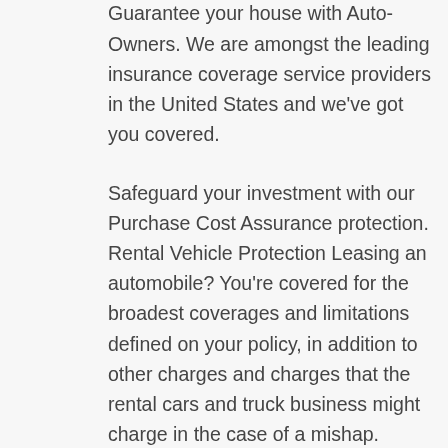the ideal protection. Do not let simply anybody protect your dreams. Guarantee your house with Auto-Owners. We are amongst the leading insurance coverage service providers in the United States and we've got you covered.
Safeguard your investment with our Purchase Cost Assurance protection. Rental Vehicle Protection Leasing an automobile? You're covered for the broadest coverages and limitations defined on your policy, in addition to other charges and charges that the rental cars and truck business might charge in the case of a mishap.